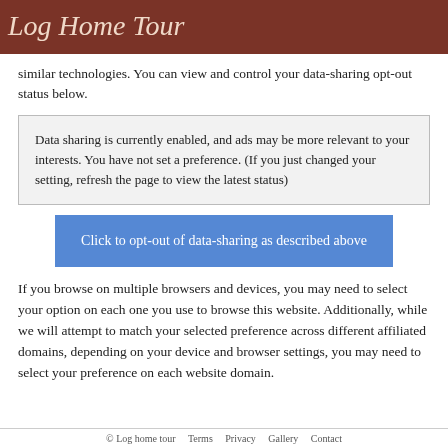Log Home Tour
similar technologies. You can view and control your data-sharing opt-out status below.
Data sharing is currently enabled, and ads may be more relevant to your interests. You have not set a preference. (If you just changed your setting, refresh the page to view the latest status)
Click to opt-out of data-sharing as described above
If you browse on multiple browsers and devices, you may need to select your option on each one you use to browse this website. Additionally, while we will attempt to match your selected preference across different affiliated domains, depending on your device and browser settings, you may need to select your preference on each website domain.
© Log Home Tour  Terms  Privacy  Gallery  Contact